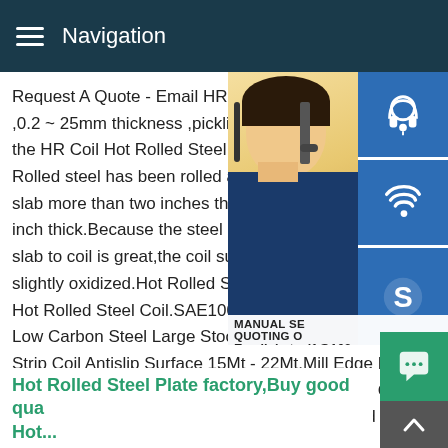Navigation
Request A Quote - Email HRC / Hot Rolled ,0.2 ~ 25mm thickness ,pickling or black s the HR Coil Hot Rolled Steel Sheet Coil S Rolled steel has been rolled at high tempe slab more than two inches thick into steel inch thick.Because the steel is rolled hot,a slab to coil is great,the coil surfaces are n slightly oxidized.Hot Rolled Steel Plate fac Hot Rolled Steel Coil.SAE1006 / SAE1008 Low Carbon Steel Large Stock.Low Alloy S Strip Coil Antislip Surface 15Mt - 22Mt.Mill Edge Hot Rolled Steel Coil A36Cr SS400Cr Q235B-Cr Q345B-Cr Steel Grade.Hot Rolled Steel Sheet.LR BV Hot Rolled Pickled And Oiled Steel Sheet Stainless Steel Sheet 304
[Figure (photo): Woman with headset customer service photo with blue icon buttons (headset, phone, Skype) overlaid, and a MANUAL SERVICE / QUOTING / Email: bsteel1@163.com overlay box]
Hot Rolled Steel Plate factory,Buy good qua Hot...